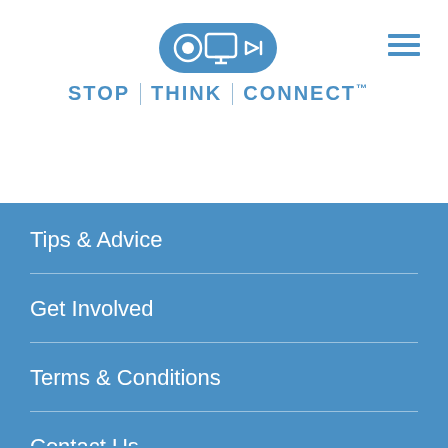[Figure (logo): Stop Think Connect logo — icon of monitor/screen device with circular play button, text STOP | THINK | CONNECT with trademark symbol, in blue on white background]
Tips & Advice
Get Involved
Terms & Conditions
Contact Us